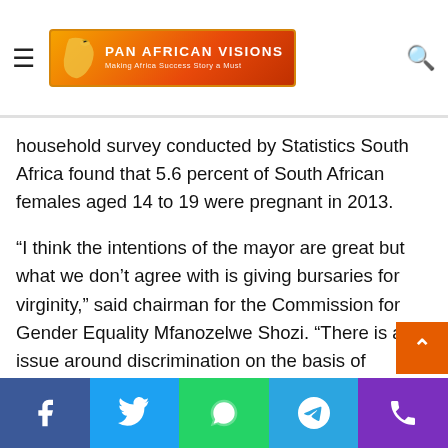Pan African Visions — Making Africa Success Story a Must
according to the South African Broadcasting Corporation. A household survey conducted by Statistics South Africa found that 5.6 percent of South African females aged 14 to 19 were pregnant in 2013.
“I think the intentions of the mayor are great but what we don’t agree with is giving bursaries for virginity,” said chairman for the Commission for Gender Equality Mfanozelwe Shozi. “There is an issue around discrimination on the basis of pregnancy, virginity and even against boys. This is going too far.”
Virginity testing is not against South Africa’s constitution but it is essential that it is done with consent, said Shozi.
Social share buttons: Facebook, Twitter, WhatsApp, Telegram, Phone